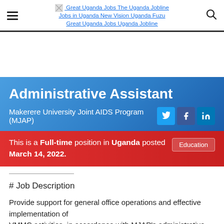≡  Great Uganda Jobs The Uganda Jobline Jobs in Uganda New Vision Uganda Fuzu Great Uganda Jobs Uganda Jobline  🔍
Administrative Assistant
Makerere University Joint AIDS Program (MJAP)
This is a Full-time position in Uganda posted March 14, 2022.
Education
# Job Description
Provide support for general office operations and effective implementation of VMMC activities, in accordance with MJAP's administrative